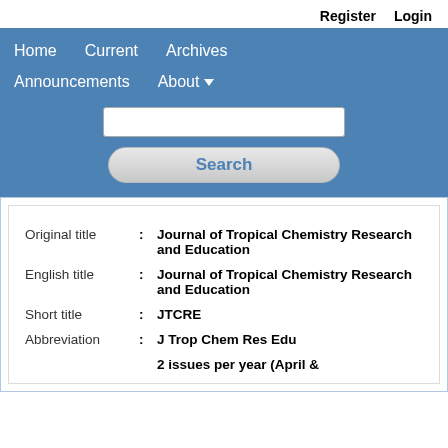Register   Login
[Figure (screenshot): Navigation bar with Home, Current, Archives, Announcements, About dropdown, and a Search box with Search button on blue background]
| Original title | : | Journal of Tropical Chemistry Research and Education |
| English title | : | Journal of Tropical Chemistry Research and Education |
| Short title | : | JTCRE |
| Abbreviation | : | J Trop Chem Res Edu |
|  |  | 2 issues per year (April & |